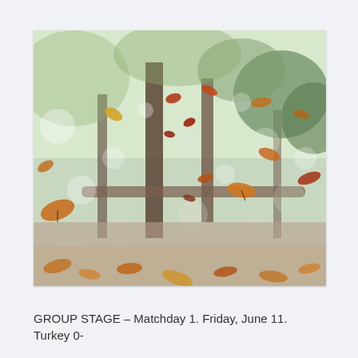[Figure (photo): Autumn leaves falling in a forest with bokeh background. Blurred trees visible in the background with orange, red, and yellow leaves swirling in the air and scattered on the ground. Shallow depth of field with soft bokeh light circles throughout.]
GROUP STAGE – Matchday 1. Friday, June 11. Turkey 0-